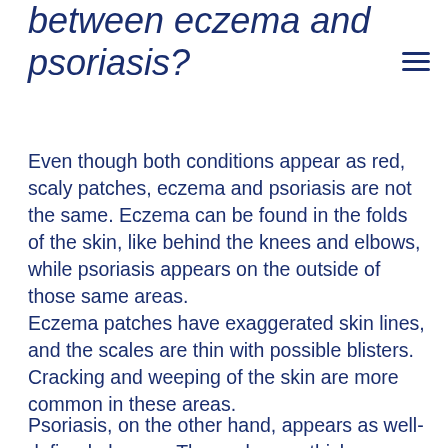between eczema and psoriasis?
Even though both conditions appear as red, scaly patches, eczema and psoriasis are not the same. Eczema can be found in the folds of the skin, like behind the knees and elbows, while psoriasis appears on the outside of those same areas.
Eczema patches have exaggerated skin lines, and the scales are thin with possible blisters. Cracking and weeping of the skin are more common in these areas.
Psoriasis, on the other hand, appears as well-defined plaques. The scales are thicker